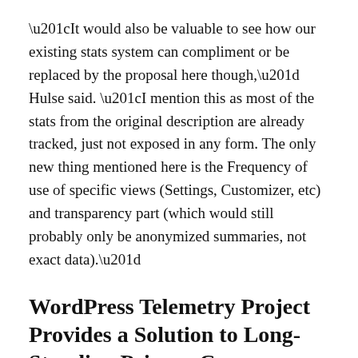“It would also be valuable to see how our existing stats system can compliment or be replaced by the proposal here though,” Hulse said. “I mention this as most of the stats from the original description are already tracked, just not exposed in any form. The only new thing mentioned here is the Frequency of use of specific views (Settings, Customizer, etc) and transparency part (which would still probably only be anonymized summaries, not exact data).”
WordPress Telemetry Project Provides a Solution to Long-Standing Privacy Concerns
Moving WordPress’ current data tracking into a